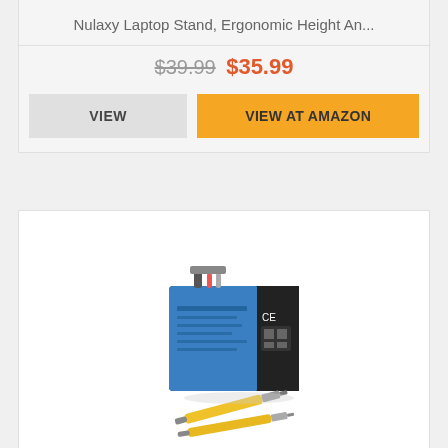Nulaxy Laptop Stand, Ergonomic Height An...
$39.99 $35.99
VIEW
VIEW AT AMAZON
[Figure (photo): ANTIFE 86Wh 2F8K3 laptop battery product photo with screwdrivers]
ANTIFE 86Wh 2F8K3 Battery for Dell